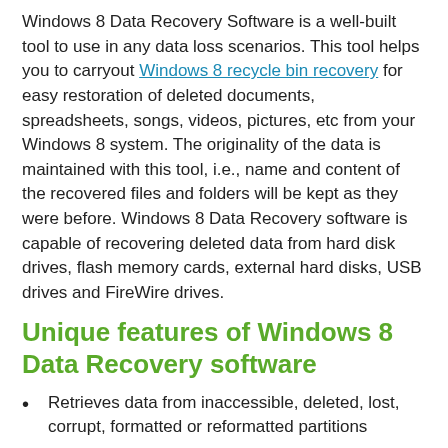Windows 8 Data Recovery Software is a well-built tool to use in any data loss scenarios. This tool helps you to carryout Windows 8 recycle bin recovery for easy restoration of deleted documents, spreadsheets, songs, videos, pictures, etc from your Windows 8 system. The originality of the data is maintained with this tool, i.e., name and content of the recovered files and folders will be kept as they were before. Windows 8 Data Recovery software is capable of recovering deleted data from hard disk drives, flash memory cards, external hard disks, USB drives and FireWire drives.
Unique features of Windows 8 Data Recovery software
Retrieves data from inaccessible, deleted, lost, corrupt, formatted or reformatted partitions
Capable enough to retrieve more than 300 different types of files
Windows 8 Data Recovery app facilitates to add/edit file signature to the non-listed files
Supports exFAT, FAT16, FAT32, NTFS, and NTFS5 partitioned